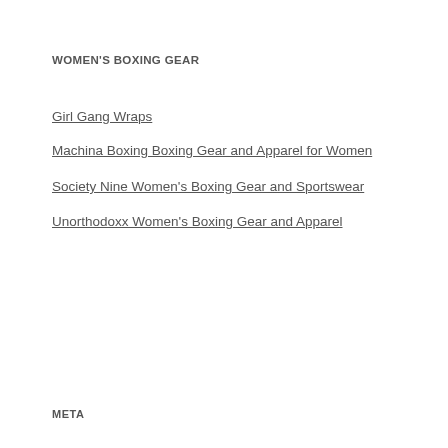WOMEN'S BOXING GEAR
Girl Gang Wraps
Machina Boxing Boxing Gear and Apparel for Women
Society Nine Women's Boxing Gear and Sportswear
Unorthodoxx Women's Boxing Gear and Apparel
[Figure (infographic): Visitors flag counter widget showing visitor counts by country: US 308,652; UK 40,059; Canada 22,688; Germany 22,668; Australia 11,133; France 9,301; Netherlands 8,767; India 6,719; Japan 6,369; Italy 6,267; Philippines 5,519; China 4,599]
META